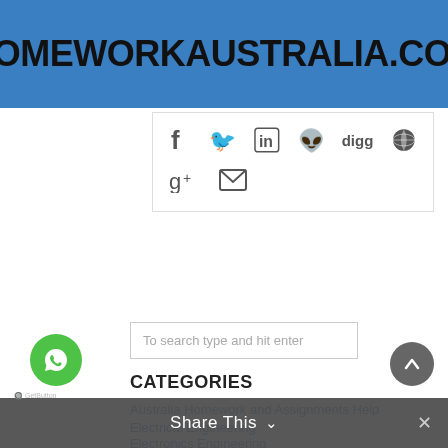HOMEWORKAUSTRALIA.COM
[Figure (screenshot): Social share icons: Facebook, Twitter, LinkedIn, Reddit, Digg, Globe, Google+, Email]
To search type and hit enter
CATEGORIES
Australia Homework and Assignments Help
Electrical Engineering
Electronics Engineering
Engineering
Finance & Accounting
Share This